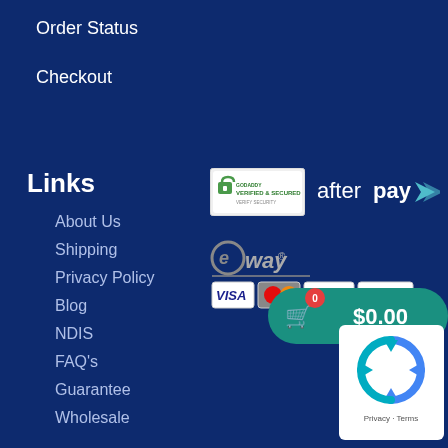Order Status
Checkout
Links
[Figure (logo): GoDaddy Verified & Secured badge with green padlock icon]
[Figure (logo): Afterpay logo in white with teal arrow icon]
[Figure (logo): eWay payment logo with payment card icons: Visa, MasterCard, PayPal, Direct Bank Deposit]
About Us
Shipping
Privacy Policy
Blog
NDIS
FAQ's
Guarantee
Wholesale
[Figure (infographic): Shopping cart button showing 0 items and $0.00 total]
[Figure (logo): Google reCAPTCHA badge with Privacy and Terms links]